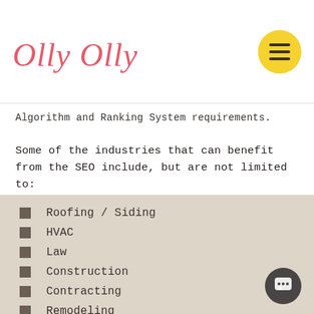Olly Olly
Algorithm and Ranking System requirements.
Some of the industries that can benefit from the SEO include, but are not limited to:
Roofing / Siding
HVAC
Law
Construction
Contracting
Remodeling
Landscaping